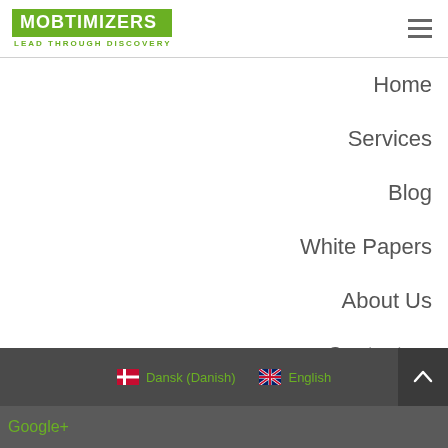MOBTIMIZERS LEAD THROUGH DISCOVERY
Home
Services
Blog
White Papers
About Us
Contact us
Dansk (Danish)  English  Google+